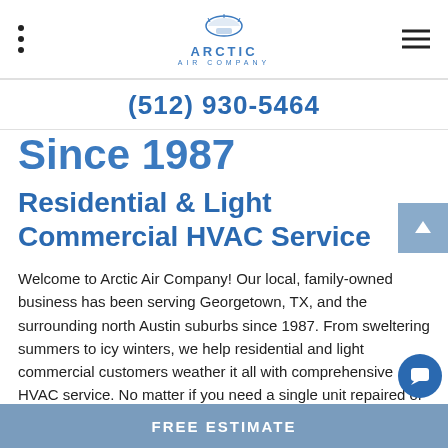Arctic Air Company
(512) 930-5464
Since 1987
Residential & Light Commercial HVAC Service
Welcome to Arctic Air Company! Our local, family-owned business has been serving Georgetown, TX, and the surrounding north Austin suburbs since 1987. From sweltering summers to icy winters, we help residential and light commercial customers weather it all with comprehensive HVAC service. No matter if you need a single unit repaired or a complete multi-system install...
FREE ESTIMATE